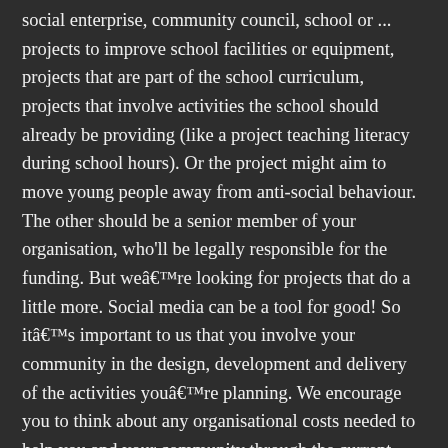social enterprise, community council, school or ... projects to improve school facilities or equipment, projects that are part of the school curriculum, projects that involve activities the school should already be providing (like a project teaching literacy during school hours). Or the project might aim to move young people away from anti-social behaviour. The other should be a senior member of your organisation, who'll be legally responsible for the funding. But weâre looking for projects that do a little more. Social media can be a tool for good! So itâs important to us that you involve your community in the design, development and delivery of the activities youâre planning. We encourage you to think about any organisational costs needed to help you and your community through the current crisis. The aim of this session is to help participants improve their skills and knowledge when planning and completing a funding application. Sign up today and join thousands of other companies wanting to win